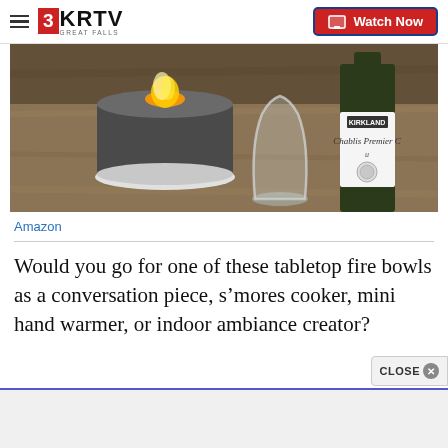3KRTV GREAT FALLS | Watch Now
[Figure (photo): Tabletop fire bowl (cylindrical concrete candle with flame) on a wooden table next to a stemless wine glass and a Kirkland Chablis Premier Cru wine bottle.]
Amazon
Would you go for one of these tabletop fire bowls as a conversation piece, s’mores cooker, mini hand warmer, or indoor ambiance creator?